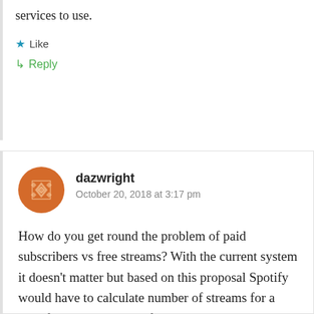services to use.
★ Like
↳ Reply
dazwright
October 20, 2018 at 3:17 pm
How do you get round the problem of paid subscribers vs free streams? With the current system it doesn't matter but based on this proposal Spotify would have to calculate number of streams for a specific artist and then of those how many were paid subscribers. With over 100 million free subscribers this will massively distort how payments are made as a significant number of streams will generate no